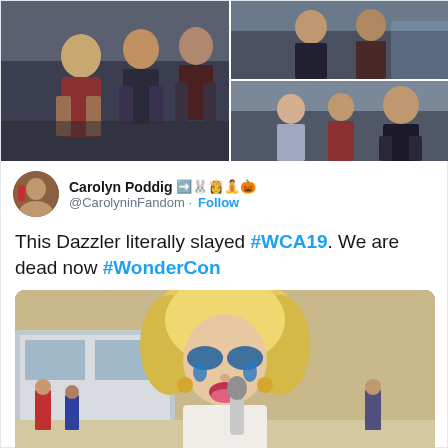[Figure (photo): Collage of three photos showing cosplayers at a convention, including characters like Scarlet Witch and Thor]
Carolyn Poddig ➡️🐰👸🧘🎃 @CarolyninFandom · Follow
This Dazzler literally slayed #WCA19. We are dead now #WonderCon
[Figure (photo): Close-up photo of a Dazzler cosplayer with big blonde hair, dramatic blue eye makeup, and a white outfit holding a microphone]